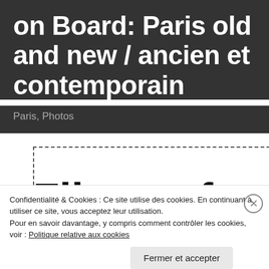on Board: Paris old and new / ancien et contemporain
Paris, Photos
[Figure (screenshot): File not found error page with dashed border box and large bold text 'File not found' partially visible]
Confidentialité & Cookies : Ce site utilise des cookies. En continuant à utiliser ce site, vous acceptez leur utilisation.
Pour en savoir davantage, y compris comment contrôler les cookies, voir : Politique relative aux cookies
Fermer et accepter